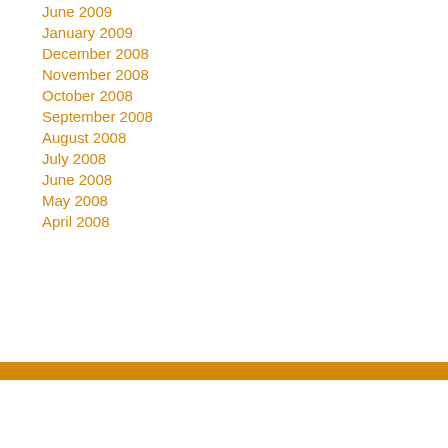June 2009
January 2009
December 2008
November 2008
October 2008
September 2008
August 2008
July 2008
June 2008
May 2008
April 2008